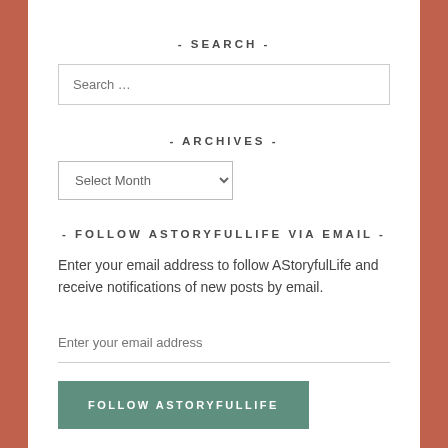- SEARCH -
Search …
- ARCHIVES -
Select Month
- FOLLOW ASTORYFULLIFE VIA EMAIL -
Enter your email address to follow AStoryfulLife and receive notifications of new posts by email.
Enter your email address
FOLLOW ASTORYFULLIFE